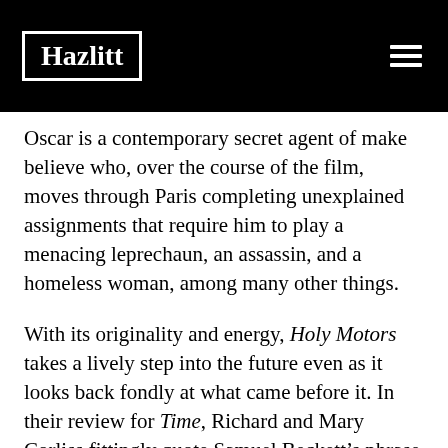Hazlitt
Oscar is a contemporary secret agent of make believe who, over the course of the film, moves through Paris completing unexplained assignments that require him to play a menacing leprechaun, an assassin, and a homeless woman, among many other things.
With its originality and energy, Holy Motors takes a lively step into the future even as it looks back fondly at what came before it. In their review for Time, Richard and Mary Corliss fittingly quote Samuel Beckett's phrase from The Unnamable, “I can’t go on, I must go on,” to summarize Oscar’s struggles through the movie, and it works also for cinema. As